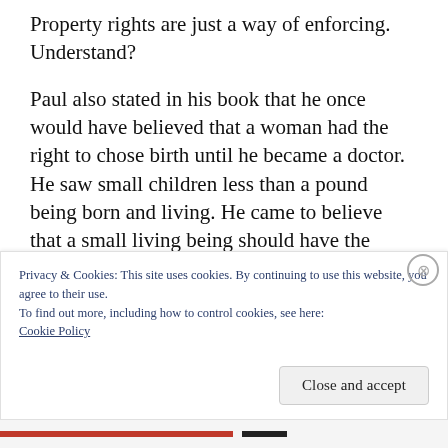Property rights are just a way of enforcing. Understand?
Paul also stated in his book that he once would have believed that a woman had the right to chose birth until he became a doctor. He saw small children less than a pound being born and living. He came to believe that a small living being should have the same rights as anyone else. Through abortion, a mother's choice is
Privacy & Cookies: This site uses cookies. By continuing to use this website, you agree to their use.
To find out more, including how to control cookies, see here:
Cookie Policy